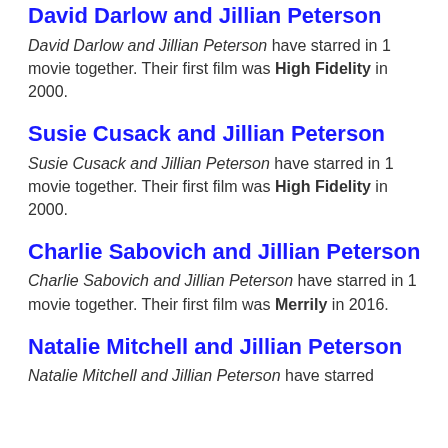movie together. Their first film was Campbell's in 2014.
David Darlow and Jillian Peterson
David Darlow and Jillian Peterson have starred in 1 movie together. Their first film was High Fidelity in 2000.
Susie Cusack and Jillian Peterson
Susie Cusack and Jillian Peterson have starred in 1 movie together. Their first film was High Fidelity in 2000.
Charlie Sabovich and Jillian Peterson
Charlie Sabovich and Jillian Peterson have starred in 1 movie together. Their first film was Merrily in 2016.
Natalie Mitchell and Jillian Peterson
Natalie Mitchell and Jillian Peterson have starred